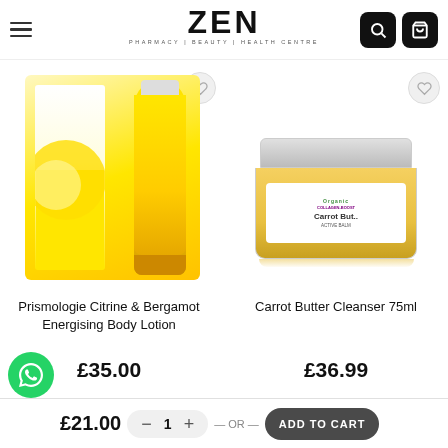ZEN PHARMACY | BEAUTY | HEALTH CENTRE
[Figure (photo): Prismologie Citrine & Bergamot Energising Body Lotion product photo showing yellow box and tube]
Prismologie Citrine & Bergamot Energising Body Lotion
£35.00
[Figure (photo): Carrot Butter Cleanser 75ml jar product photo]
Carrot Butter Cleanser 75ml
£36.99
£21.00
— OR —
ADD TO CART